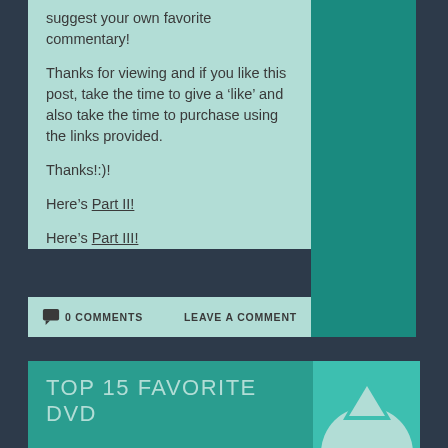suggest your own favorite commentary!
Thanks for viewing and if you like this post, take the time to give a ‘like’ and also take the time to purchase using the links provided.
Thanks!:)!
Here’s Part II!
Here’s Part III!
0 COMMENTS
LEAVE A COMMENT
TOP 15 FAVORITE DVD
[Figure (logo): Paramount Pictures mountain logo, partial view showing white mountain arc on teal background]